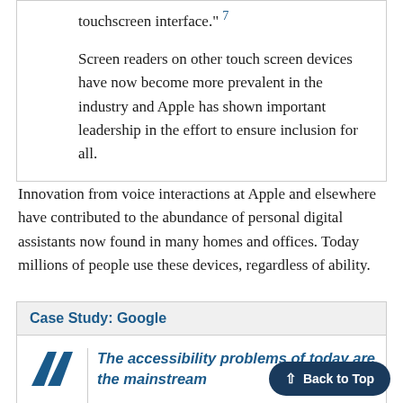touchscreen interface." 7
Screen readers on other touch screen devices have now become more prevalent in the industry and Apple has shown important leadership in the effort to ensure inclusion for all.
Innovation from voice interactions at Apple and elsewhere have contributed to the abundance of personal digital assistants now found in many homes and offices. Today millions of people use these devices, regardless of ability.
Case Study: Google
The accessibility problems of today are the mainstream